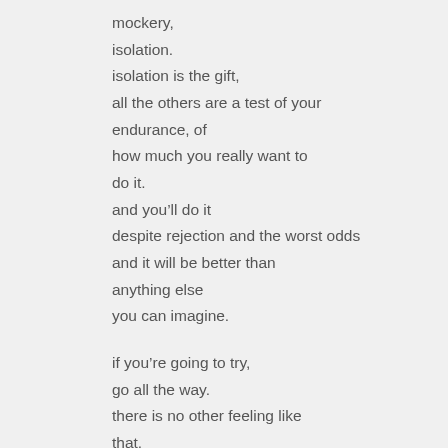mockery,
isolation.
isolation is the gift,
all the others are a test of your
endurance, of
how much you really want to
do it.
and you’ll do it
despite rejection and the worst odds
and it will be better than
anything else
you can imagine.

if you’re going to try,
go all the way.
there is no other feeling like
that.